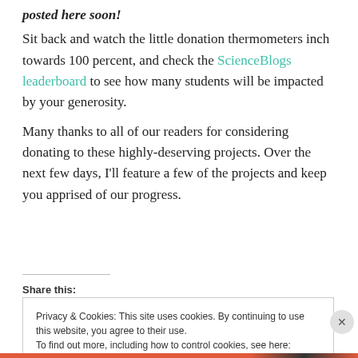posted here soon!
Sit back and watch the little donation thermometers inch towards 100 percent, and check the ScienceBlogs leaderboard to see how many students will be impacted by your generosity.
Many thanks to all of our readers for considering donating to these highly-deserving projects. Over the next few days, I'll feature a few of the projects and keep you apprised of our progress.
Share this:
Privacy & Cookies: This site uses cookies. By continuing to use this website, you agree to their use. To find out more, including how to control cookies, see here: Cookie Policy
Close and accept